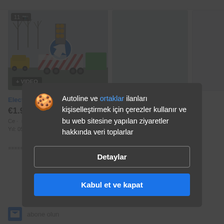[Figure (screenshot): Autoline vehicle listing page showing a road signage trailer truck. Main photo with badge showing '11' photos and a camera icon, plus '+ VIDEO' badge. Two additional thumbnail placeholders to the right.]
ElectroAuto remorque de signalisation
€1.900
Autoline ve ortaklar ilanları kişiselleştirmek için çerezler kullanır ve bu web sitesine yapılan ziyaretler hakkında veri toplarlar
Detaylar
Kabul et ve kapat
abone olun